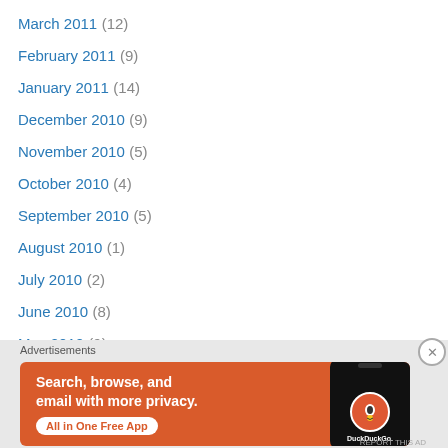March 2011 (12)
February 2011 (9)
January 2011 (14)
December 2010 (9)
November 2010 (5)
October 2010 (4)
September 2010 (5)
August 2010 (1)
July 2010 (2)
June 2010 (8)
May 2010 (9)
April 2010 (6)
March 2010 (3)
February 2010 (1)
[Figure (infographic): DuckDuckGo advertisement banner: orange background with text 'Search, browse, and email with more privacy. All in One Free App' and a phone graphic showing DuckDuckGo logo]